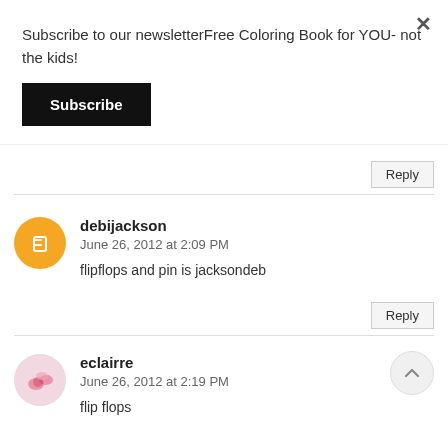Subscribe to our newsletterFree Coloring Book for YOU- not the kids!
Subscribe
Reply
debijackson
June 26, 2012 at 2:09 PM
flipflops and pin is jacksondeb
Reply
eclairre
June 26, 2012 at 2:19 PM
flip flops